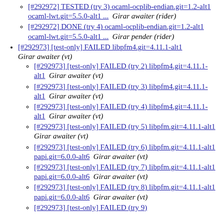[#292972] TESTED (try 3) ocaml-ocplib-endian.git=1.2-alt1 ocaml-lwt.git=5.5.0-alt1 ... Girar awaiter (rider)
[#292972] DONE (try 4) ocaml-ocplib-endian.git=1.2-alt1 ocaml-lwt.git=5.5.0-alt1 ... Girar pender (rider)
[#292973] [test-only] FAILED libpfm4.git=4.11.1-alt1 Girar awaiter (vt)
[#292973] [test-only] FAILED (try 2) libpfm4.git=4.11.1-alt1 Girar awaiter (vt)
[#292973] [test-only] FAILED (try 3) libpfm4.git=4.11.1-alt1 Girar awaiter (vt)
[#292973] [test-only] FAILED (try 4) libpfm4.git=4.11.1-alt1 Girar awaiter (vt)
[#292973] [test-only] FAILED (try 5) libpfm.git=4.11.1-alt1 Girar awaiter (vt)
[#292973] [test-only] FAILED (try 6) libpfm.git=4.11.1-alt1 papi.git=6.0.0-alt6 Girar awaiter (vt)
[#292973] [test-only] FAILED (try 7) libpfm.git=4.11.1-alt1 papi.git=6.0.0-alt6 Girar awaiter (vt)
[#292973] [test-only] FAILED (try 8) libpfm.git=4.11.1-alt1 papi.git=6.0.0-alt6 Girar awaiter (vt)
[#292973] [test-only] FAILED (try 9)